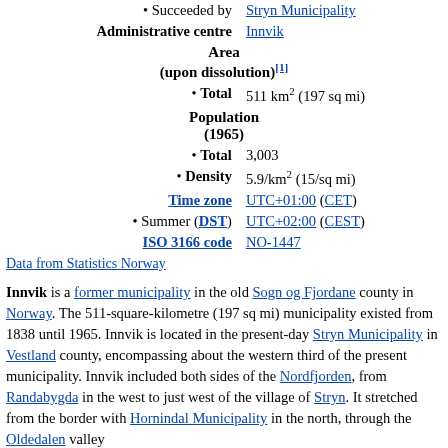| • Succeeded by | Stryn Municipality |
| Administrative centre | Innvik |
| Area (upon dissolution)[1] |  |
| • Total | 511 km² (197 sq mi) |
| Population (1965) |  |
| • Total | 3,003 |
| • Density | 5.9/km² (15/sq mi) |
| Time zone | UTC+01:00 (CET) |
| • Summer (DST) | UTC+02:00 (CEST) |
| ISO 3166 code | NO-1447 |
| Data from Statistics Norway |  |
Innvik is a former municipality in the old Sogn og Fjordane county in Norway. The 511-square-kilometre (197 sq mi) municipality existed from 1838 until 1965. Innvik is located in the present-day Stryn Municipality in Vestland county, encompassing about the western third of the present municipality. Innvik included both sides of the Nordfjorden, from Randabygda in the west to just west of the village of Stryn. It stretched from the border with Hornindal Municipality in the north, through the Oldedalen valley...